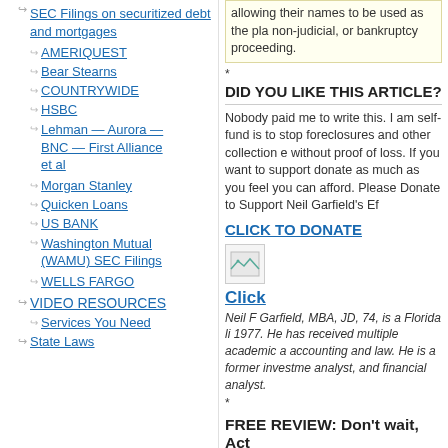SEC Filings on securitized debt and mortgages
AMERIQUEST
Bear Stearns
COUNTRYWIDE
HSBC
Lehman — Aurora — BNC — First Alliance et al
Morgan Stanley
Quicken Loans
US BANK
Washington Mutual (WAMU) SEC Filings
WELLS FARGO
VIDEO RESOURCES
Services You Need
State Laws
allowing their names to be used as the pla non-judicial, or bankruptcy proceeding.
*
DID YOU LIKE THIS ARTICLE?
Nobody paid me to write this. I am self-fund is to stop foreclosures and other collection e without proof of loss. If you want to support donate as much as you feel you can afford. Please Donate to Support Neil Garfield's Ef
CLICK TO DONATE
[Figure (other): Small image placeholder icon]
Click
Neil F Garfield, MBA, JD, 74, is a Florida li 1977. He has received multiple academic a accounting and law. He is a former investme analyst, and financial analyst.
*
FREE REVIEW: Don't wait, Act
CLICK HERE FOR REGISTRATION FORM
information private. The information you pro providing services you order or request fro